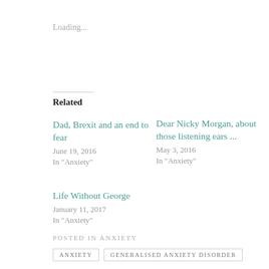Loading...
Related
Dad, Brexit and an end to fear
June 19, 2016
In "Anxiety"
Dear Nicky Morgan, about those listening ears ...
May 3, 2016
In "Anxiety"
Life Without George
January 11, 2017
In "Anxiety"
POSTED IN ANXIETY
ANXIETY   GENERALISED ANXIETY DISORDER